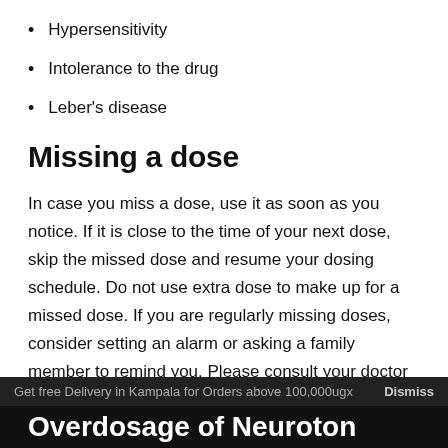Hypersensitivity
Intolerance to the drug
Leber's disease
Missing a dose
In case you miss a dose, use it as soon as you notice. If it is close to the time of your next dose, skip the missed dose and resume your dosing schedule. Do not use extra dose to make up for a missed dose. If you are regularly missing doses, consider setting an alarm or asking a family member to remind you. Please consult your doctor to discuss changes in your dosing schedule or a new schedule to make up for missed doses, if you have missed too many doses recently.
Get free Delivery in Kampala for Orders above 100,000ugx Dismiss
Overdosage of Neuroton